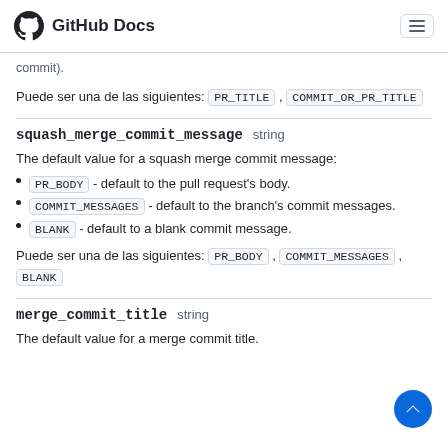GitHub Docs
commit).
Puede ser una de las siguientes: PR_TITLE , COMMIT_OR_PR_TITLE
squash_merge_commit_message   string
The default value for a squash merge commit message:
PR_BODY - default to the pull request's body.
COMMIT_MESSAGES - default to the branch's commit messages.
BLANK - default to a blank commit message.
Puede ser una de las siguientes: PR_BODY , COMMIT_MESSAGES , BLANK
merge_commit_title   string
The default value for a merge commit title.